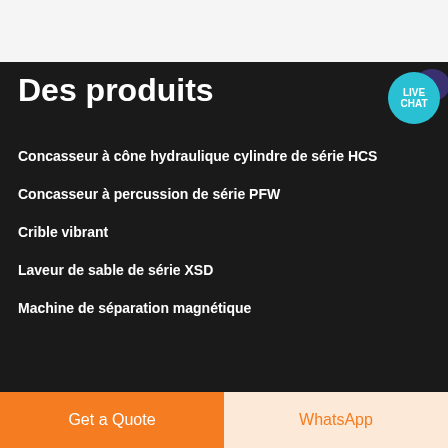[Figure (other): Live chat button with teal speech bubble and dark purple chat icon in top right corner of dark section]
Des produits
Concasseur à cône hydraulique cylindre de série HCS
Concasseur à percussion de série PFW
Crible vibrant
Laveur de sable de série XSD
Machine de séparation magnétique
Get a Quote
WhatsApp